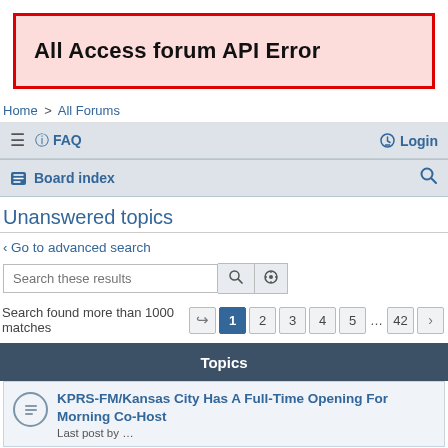All Access forum API Error
Home > All Forums
≡  ? FAQ    Login
Board index    🔍
Unanswered topics
< Go to advanced search
Search these results
Search found more than 1000 matches   1  2  3  4  5  ...  42  >
Topics
KPRS-FM/Kansas City Has A Full-Time Opening For Morning Co-Host